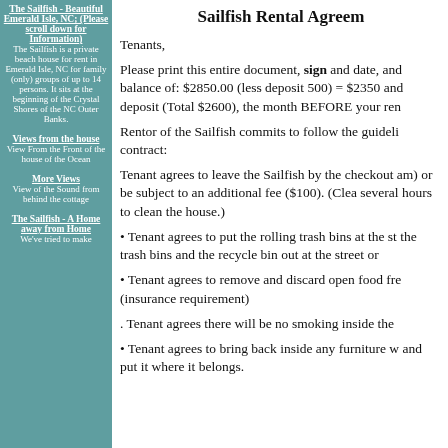The Sailfish - Beautiful Emerald Isle, NC; (Please scroll down for Information)
The Sailfish is a private beach house for rent in Emerald Isle, NC for family (only) groups of up to 14 persons. It sits at the beginning of the Crystal Shores of the NC Outer Banks.
Views from the house
View From the Front of the house of the Ocean
More Views
View of the Sound from behind the cottage
The Sailfish - A Home away from Home
We've tried to make
Sailfish Rental Agreement
Tenants,
Please print this entire document, sign and date, and balance of: $2850.00 (less deposit 500) = $2350 and deposit (Total $2600), the month BEFORE your ren
Rentor of the Sailfish commits to follow the guidelines in this contract:
Tenant agrees to leave the Sailfish by the checkout time (10 am) or be subject to an additional fee ($100). (Cleaners need several hours to clean the house.)
Tenant agrees to put the rolling trash bins at the street. Put the trash bins and the recycle bin out at the street or
Tenant agrees to remove and discard open food from (insurance requirement)
Tenant agrees there will be no smoking inside the
Tenant agrees to bring back inside any furniture moved and put it where it belongs.